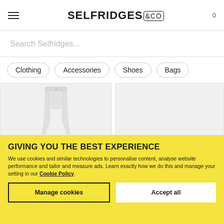SELFRIDGES &CO
Search Selfridges...
Clothing
Accessories
Shoes
Bags
[Figure (photo): Light grey jeans product photo on light background]
[Figure (photo): Second product photo placeholder on light background]
GIVING YOU THE BEST EXPERIENCE
We use cookies and similar technologies to personalise content, analyse website performance and tailor and measure ads. Learn exactly how we do this and manage your setting in our Cookie Policy.
Manage cookies
Accept all